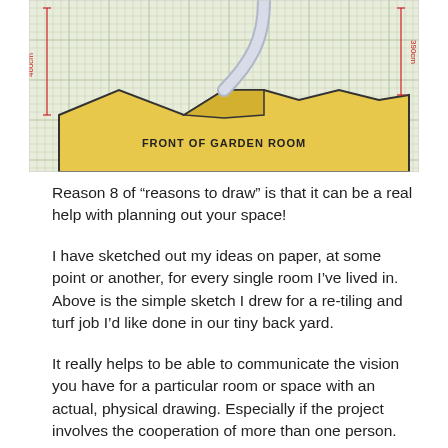[Figure (photo): A hand-drawn sketch on graph paper showing a garden/yard layout plan. The bottom portion shows a yellow-shaded area labeled 'FRONT OF GARDEN ROOM' with measurement annotations in red on the sides. A curved path or pipe is drawn in the upper portion of the sketch.]
Reason 8 of “reasons to draw” is that it can be a real help with planning out your space!
I have sketched out my ideas on paper, at some point or another, for every single room I’ve lived in. Above is the simple sketch I drew for a re-tiling and turf job I’d like done in our tiny back yard.
It really helps to be able to communicate the vision you have for a particular room or space with an actual, physical drawing. Especially if the project involves the cooperation of more than one person.